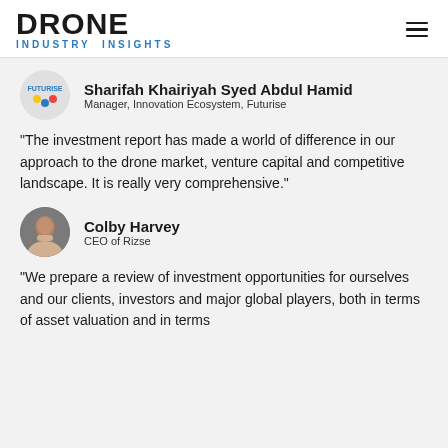DRONE INDUSTRY INSIGHTS
Sharifah Khairiyah Syed Abdul Hamid
Manager, Innovation Ecosystem, Futurise
“The investment report has made a world of difference in our approach to the drone market, venture capital and competitive landscape. It is really very comprehensive.”
Colby Harvey
CEO of Rizse
“We prepare a review of investment opportunities for ourselves and our clients, investors and major global players, both in terms of asset valuation and in terms